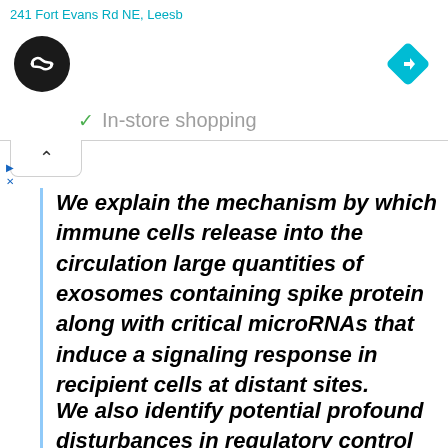241 Fort Evans Rd NE, Leesb
[Figure (logo): Black circular logo with double arrow infinity-like symbol in white, and a blue diamond navigation icon on the right]
✓ In-store shopping
We explain the mechanism by which immune cells release into the circulation large quantities of exosomes containing spike protein along with critical microRNAs that induce a signaling response in recipient cells at distant sites.
We also identify potential profound disturbances in regulatory control of